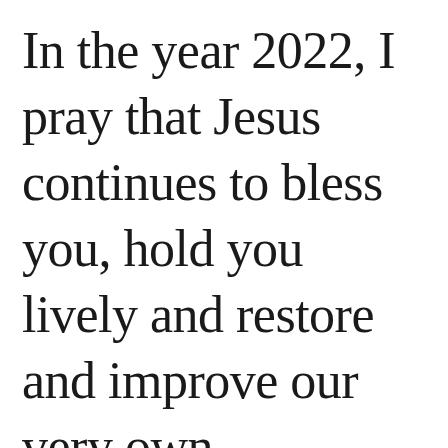In the year 2022, I pray that Jesus continues to bless you, hold you lively and restore and improve our very own fascination